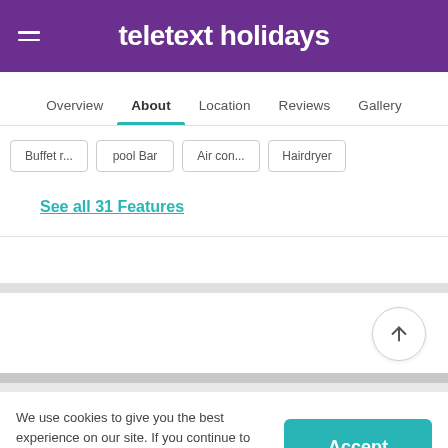teletext holidays
Overview  About  Location  Reviews  Gallery
Buffet r...
pool Bar
Air con...
Hairdryer
See all 31 Features
We use cookies to give you the best experience on our site. If you continue to use our site, you agree to our use of cookies. Learn more.